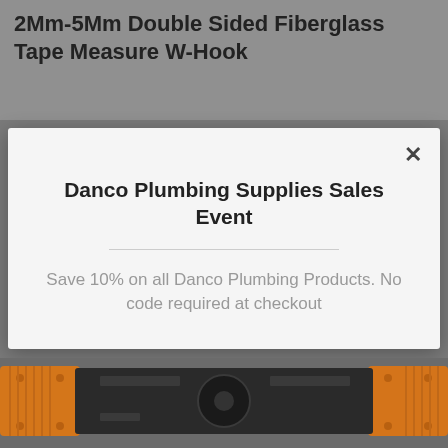2Mm-5Mm Double Sided Fiberglass Tape Measure W-Hook
[Figure (screenshot): Modal dialog overlay on a product page showing a sales event promotion for Danco Plumbing Supplies]
Danco Plumbing Supplies Sales Event
Save 10% on all Danco Plumbing Products. No code required at checkout
[Figure (photo): Photo of an orange and black fiberglass tape measure with W-Hook visible at bottom of page]